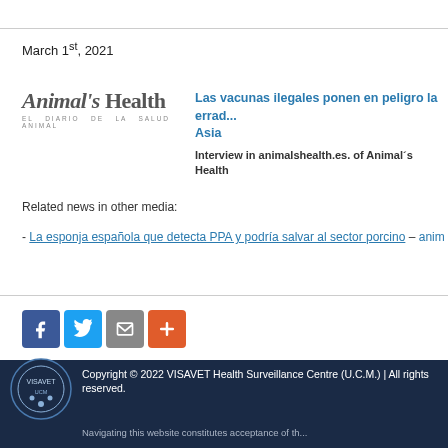March 1st, 2021
[Figure (logo): Animal's Health — El Diario de la Salud Animal logo]
Las vacunas ilegales ponen en peligro la errad... Asia
Interview in animalshealth.es. of Animal´s Health
Related news in other media:
- La esponja española que detecta PPA y podría salvar al sector porcino – animalshealth.
[Figure (infographic): Social sharing buttons: Facebook, Twitter, Email, More]
Copyright © 2022 VISAVET Health Surveillance Centre (U.C.M.) | All rights reserved. Navigating this website constitutes acceptance of th...